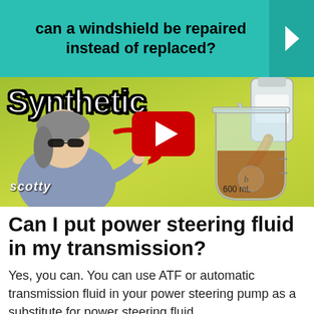can a windshield be repaired instead of replaced?
[Figure (screenshot): YouTube video thumbnail showing a man (Scotty) pointing at a beaker of transmission fluid being filled from a bottle, with text 'Synthetic' overlaid, a YouTube play button, and 'scotty' watermark in the lower left. Background is green-yellow gradient.]
Can I put power steering fluid in my transmission?
Yes, you can. You can use ATF or automatic transmission fluid in your power steering pump as a substitute for power steering fluid